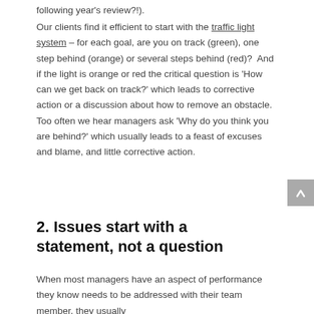following year's review?!).
Our clients find it efficient to start with the traffic light system – for each goal, are you on track (green), one step behind (orange) or several steps behind (red)?  And if the light is orange or red the critical question is 'How can we get back on track?' which leads to corrective action or a discussion about how to remove an obstacle.  Too often we hear managers ask 'Why do you think you are behind?' which usually leads to a feast of excuses and blame, and little corrective action.
2. Issues start with a statement, not a question
When most managers have an aspect of performance they know needs to be addressed with their team member, they usually